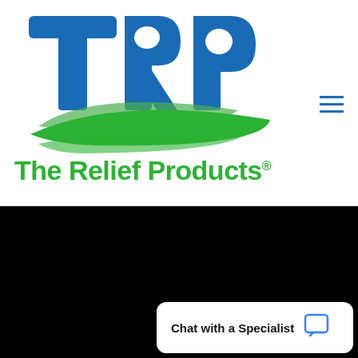[Figure (logo): TRP logo with blue letters T, R, P and green leaf swoosh underneath]
The Relief Products®
Contact US
Phone: 888-969-6855
Email: info@thereliefpr...
Chat with a Specialist